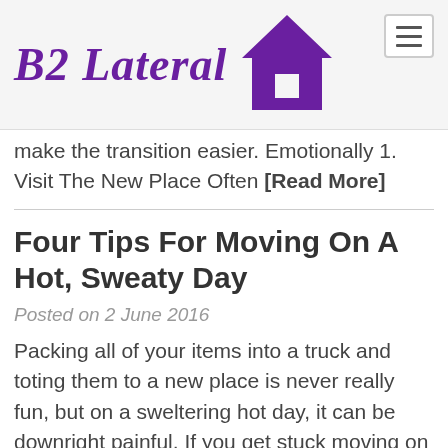B2 Lateral
make the transition easier. Emotionally 1. Visit The New Place Often [Read More]
Four Tips For Moving On A Hot, Sweaty Day
Posted on 2 June 2016
Packing all of your items into a truck and toting them to a new place is never really fun, but on a sweltering hot day, it can be downright painful. If you get stuck moving on a day where the thermometer is soaring